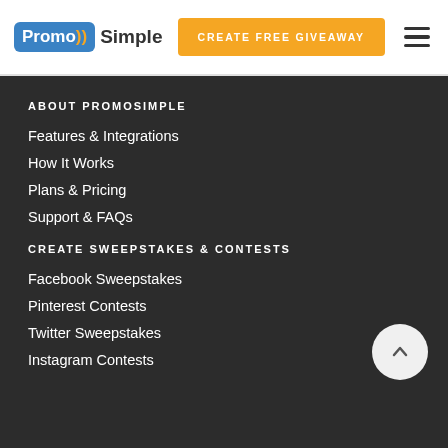PromoSimple | CREATE FREE GIVEAWAY
ABOUT PROMOSIMPLE
Features & Integrations
How It Works
Plans & Pricing
Support & FAQs
CREATE SWEEPSTAKES & CONTESTS
Facebook Sweepstakes
Pinterest Contests
Twitter Sweepstakes
Instagram Contests